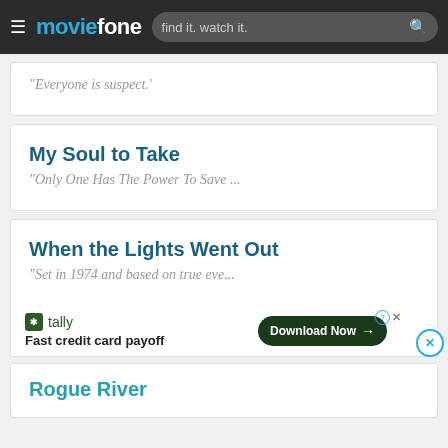moviefone | find it. watch it.
"Everyone is suspect.'
My Soul to Take
"Only One Has The Power To Save ...
When the Lights Went Out
"Set in 1974 and based on true eve...
tally Fast credit card payoff Download Now
Rogue River